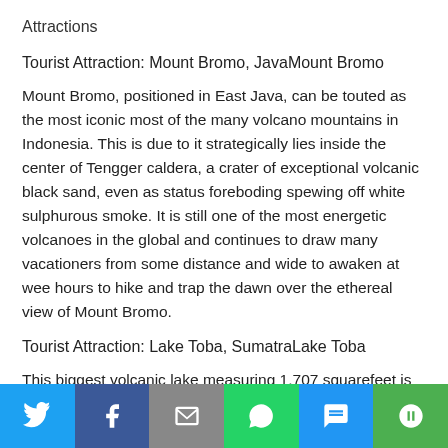Attractions
Tourist Attraction: Mount Bromo, JavaMount Bromo
Mount Bromo, positioned in East Java, can be touted as the most iconic most of the many volcano mountains in Indonesia. This is due to it strategically lies inside the center of Tengger caldera, a crater of exceptional volcanic black sand, even as status foreboding spewing off white sulphurous smoke. It is still one of the most energetic volcanoes in the global and continues to draw many vacationers from some distance and wide to awaken at wee hours to hike and trap the dawn over the ethereal view of Mount Bromo.
Tourist Attraction: Lake Toba, SumatraLake Toba
This biggest volcanic lake measuring 1,707 squarefeet is known as Lake Toba, also known as Danau Toba. It is formed